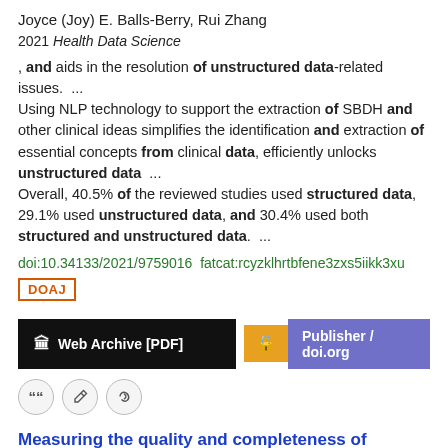Joyce (Joy) E. Balls-Berry, Rui Zhang
2021 Health Data Science
, and aids in the resolution of unstructured data-related issues. ... Using NLP technology to support the extraction of SBDH and other clinical ideas simplifies the identification and extraction of essential concepts from clinical data, efficiently unlocks unstructured data ... Overall, 40.5% of the reviewed studies used structured data, 29.1% used unstructured data, and 30.4% used both structured and unstructured data. ...
doi:10.34133/2021/9759016  fatcat:rcyzklhrtbfene3zxs5iikk3xu
DOAJ
Web Archive [PDF]
Publisher / doi.org
Measuring the quality and completeness of medication-related information derived from hospital electronic health records database
Monira Alwhaibi, Bander Balkhi, Thamir M. Alshammari, Nasser AlQahtani, Mansour A. Mahmoud, Mansour Almetwazi, Sondus